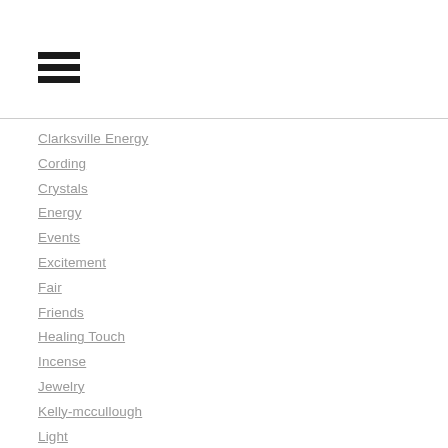[Figure (other): Hamburger menu icon with three horizontal bars]
Clarksville Energy
Cording
Crystals
Energy
Events
Excitement
Fair
Friends
Healing Touch
Incense
Jewelry
Kelly-mccullough
Light
Magical
Mandala
Metaphysical
New Moon
Patsy Patricia